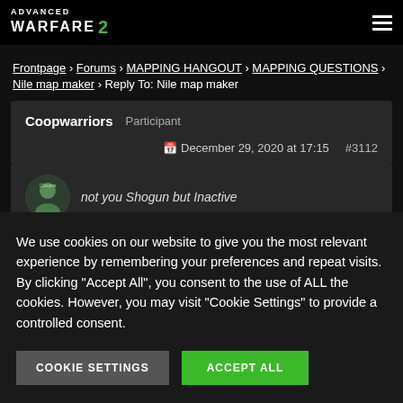ADVANCED WARFARE 2
Frontpage › Forums › MAPPING HANGOUT › MAPPING QUESTIONS › Nile map maker › Reply To: Nile map maker
| Username | Role | Date | Post ID |
| --- | --- | --- | --- |
| Coopwarriors | Participant | December 29, 2020 at 17:15 | #3112 |
not you Shogun but Inactive
We use cookies on our website to give you the most relevant experience by remembering your preferences and repeat visits. By clicking "Accept All", you consent to the use of ALL the cookies. However, you may visit "Cookie Settings" to provide a controlled consent.